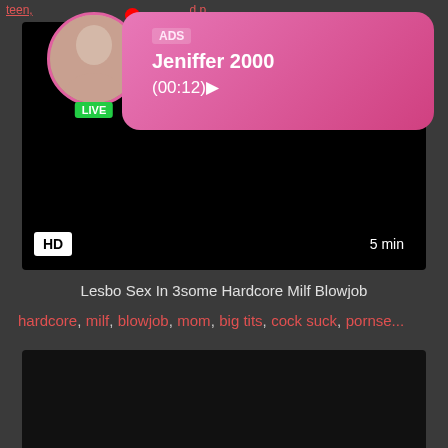teen,... d p...
[Figure (screenshot): Ad notification overlay with avatar photo of a young woman, LIVE badge, ADS label, username 'Jeniffer 2000', time '(00:12)' on pink gradient bubble]
[Figure (screenshot): Black video thumbnail with HD badge bottom-left and '5 min' duration badge bottom-right]
Lesbo Sex In 3some Hardcore Milf Blowjob
hardcore, milf, blowjob, mom, big tits, cock suck, pornse...
[Figure (screenshot): Black video thumbnail, second video partial view]